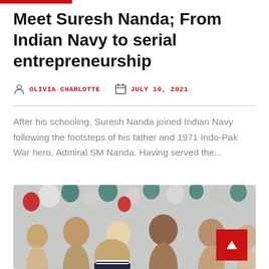Meet Suresh Nanda; From Indian Navy to serial entrepreneurship
OLIVIA CHARLOTTE   JULY 10, 2021
After his schooling, Suresh Nanda joined Indian Navy following the footsteps of his father and 1971 Indo-Pak War hero, Admiral SM Nanda. Having served the...
[Figure (photo): Group of women seen from behind at an event, decorative balloons in background, red scroll-to-top button in bottom right corner]